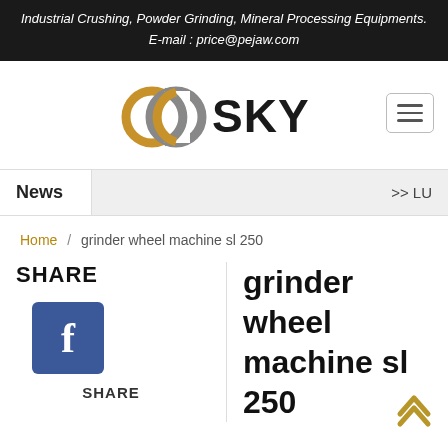Industrial Crushing, Powder Grinding, Mineral Processing Equipments.
E-mail : price@pejaw.com
[Figure (logo): GOSKY logo with two interlocked circular shapes in gold/grey and bold SKY text]
News >> LU
Home / grinder wheel machine sl 250
SHARE
[Figure (illustration): Facebook share button - blue square with white letter f]
SHARE
grinder wheel machine sl 250